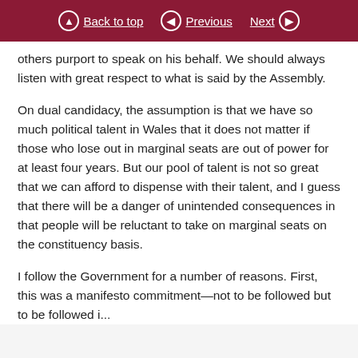Back to top  Previous  Next
others purport to speak on his behalf. We should always listen with great respect to what is said by the Assembly.
On dual candidacy, the assumption is that we have so much political talent in Wales that it does not matter if those who lose out in marginal seats are out of power for at least four years. But our pool of talent is not so great that we can afford to dispense with their talent, and I guess that there will be a danger of unintended consequences in that people will be reluctant to take on marginal seats on the constituency basis.
I follow the Government for a number of reasons. First, this was a manifesto commitment—not to be followed but to be followed i...